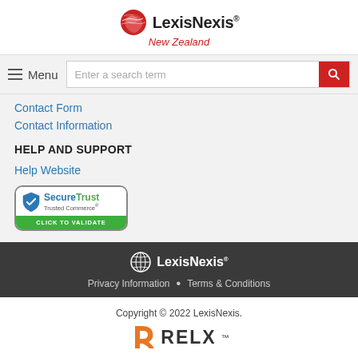[Figure (logo): LexisNexis New Zealand logo with red globe icon]
[Figure (screenshot): Navigation bar with hamburger Menu button and search field with red search button]
Contact Form
Contact Information
HELP AND SUPPORT
Help Website
[Figure (logo): SecureTrust Trusted Commerce CLICK TO VALIDATE badge]
[Figure (logo): LexisNexis white logo in dark footer]
Privacy Information • Terms & Conditions
Copyright © 2022 LexisNexis.
[Figure (logo): RELX logo with orange stylized R icon]